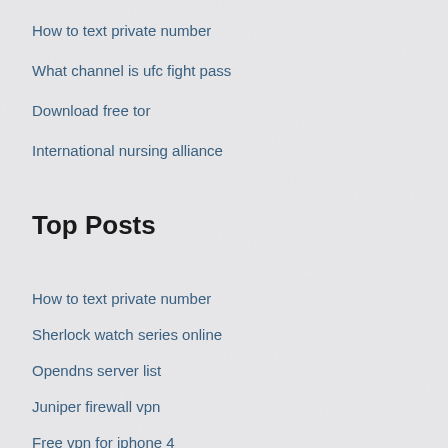How to text private number
What channel is ufc fight pass
Download free tor
International nursing alliance
Top Posts
How to text private number
Sherlock watch series online
Opendns server list
Juniper firewall vpn
Free vpn for iphone 4